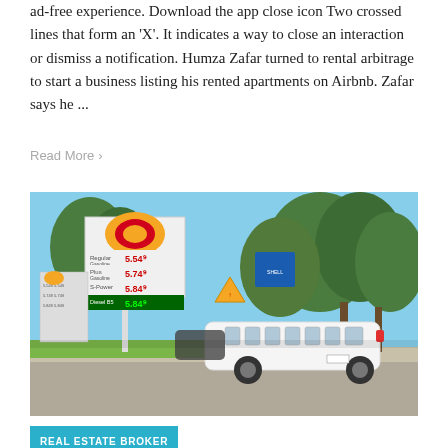ad-free experience. Download the app close icon Two crossed lines that form an 'X'. It indicates a way to close an interaction or dismiss a notification. Humza Zafar turned to rental arbitrage to start a business listing his rented apartments on Airbnb. Zafar says he ...
Read More >
[Figure (photo): A Shell gas station price sign showing fuel prices: Regular 5.549, Plus Gasoline 5.749, S-Power 5.849, Diesel B5 5.849. A white stretch limousine is visible in the background alongside trees and suburban street.]
REAL ESTATE BROKER